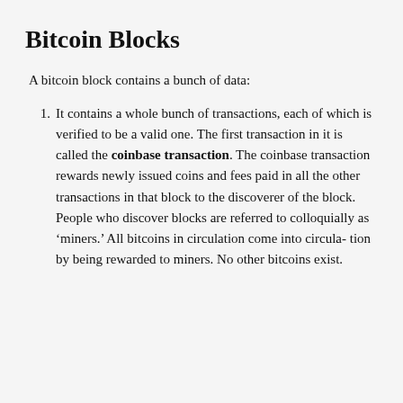Bitcoin Blocks
A bitcoin block contains a bunch of data:
It contains a whole bunch of transactions, each of which is verified to be a valid one. The first transaction in it is called the coinbase transaction. The coinbase transaction rewards newly issued coins and fees paid in all the other transactions in that block to the discoverer of the block. People who discover blocks are referred to colloquially as ‘miners.’ All bitcoins in circulation come into circulation by being rewarded to miners. No other bitcoins exist.